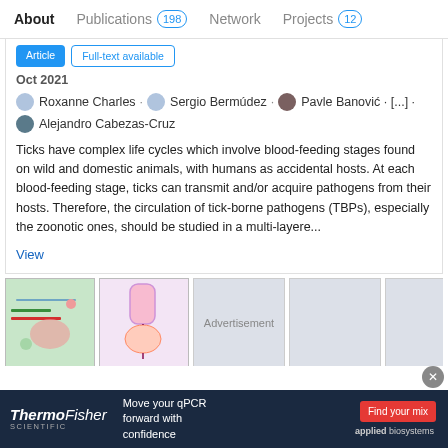About  Publications 198  Network  Projects 12
Oct 2021
Roxanne Charles · Sergio Bermúdez · Pavle Banović · [...] · Alejandro Cabezas-Cruz
Ticks have complex life cycles which involve blood-feeding stages found on wild and domestic animals, with humans as accidental hosts. At each blood-feeding stage, ticks can transmit and/or acquire pathogens from their hosts. Therefore, the circulation of tick-borne pathogens (TBPs), especially the zoonotic ones, should be studied in a multi-layere...
View
[Figure (screenshot): Advertisement slot with thumbnail images of scientific figures and an 'Advertisement' label placeholder]
[Figure (infographic): ThermoFisher Scientific advertisement banner: 'Move your qPCR forward with confidence' with 'Find your mix' button and Applied Biosystems logo]